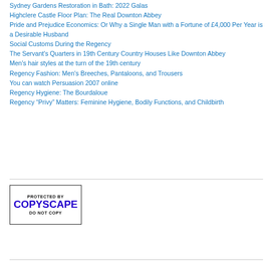Sydney Gardens Restoration in Bath: 2022 Galas
Highclere Castle Floor Plan: The Real Downton Abbey
Pride and Prejudice Economics: Or Why a Single Man with a Fortune of £4,000 Per Year is a Desirable Husband
Social Customs During the Regency
The Servant's Quarters in 19th Century Country Houses Like Downton Abbey
Men's hair styles at the turn of the 19th century
Regency Fashion: Men's Breeches, Pantaloons, and Trousers
You can watch Persuasion 2007 online
Regency Hygiene: The Bourdaloue
Regency “Privy” Matters: Feminine Hygiene, Bodily Functions, and Childbirth
[Figure (logo): Copyscape badge: PROTECTED BY COPYSCAPE DO NOT COPY]